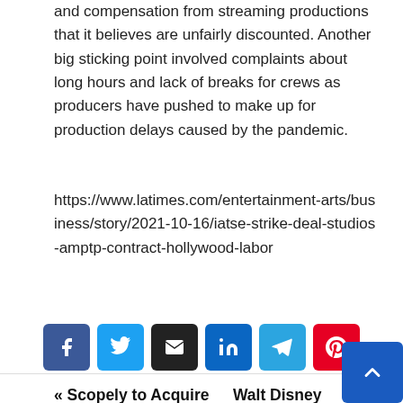and compensation from streaming productions that it believes are unfairly discounted. Another big sticking point involved complaints about long hours and lack of breaks for crews as producers have pushed to make up for production delays caused by the pandemic.
https://www.latimes.com/entertainment-arts/business/story/2021-10-16/iatse-strike-deal-studios-amptp-contract-hollywood-labor
[Figure (other): Social media share buttons: Facebook, Twitter, Email, LinkedIn, Telegram, Pinterest]
« Scopely to Acquire GSN Games From Sony Pictures Entertainment
Walt Disney World announces entertainment